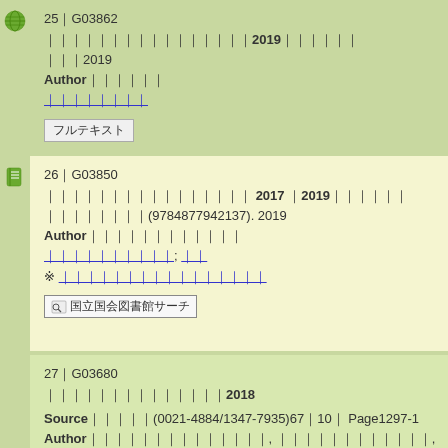25｜G03862 ｜｜｜｜｜｜｜｜｜｜｜｜｜｜｜｜2019｜｜｜｜｜｜ ｜｜｜2019 Author｜｜｜｜｜｜ ｜｜｜｜｜｜｜｜ フルテキスト
26｜G03850 ｜｜｜｜｜｜｜｜｜｜｜｜｜｜｜｜ 2017 ｜2019｜｜｜｜｜｜ ｜｜｜｜｜｜｜｜(9784877942137). 2019 Author｜｜｜｜｜｜｜｜｜｜｜｜ ｜｜｜｜｜｜｜｜｜｜; ｜｜ ※ ｜｜｜｜｜｜｜｜｜｜｜｜｜｜｜｜ 国立国会図書館サーチ
27｜G03680 ｜｜｜｜｜｜｜｜｜｜｜｜｜｜2018 Source｜｜｜｜｜(0021-4884/1347-7935)67｜10｜ Page1297-1 Author｜｜｜｜｜｜｜｜｜｜｜｜｜｜, ｜｜｜｜｜｜｜｜｜｜｜｜, ｜｜｜｜｜｜｜｜｜｜｜｜｜｜｜｜ ｜｜｜｜｜｜｜｜｜｜